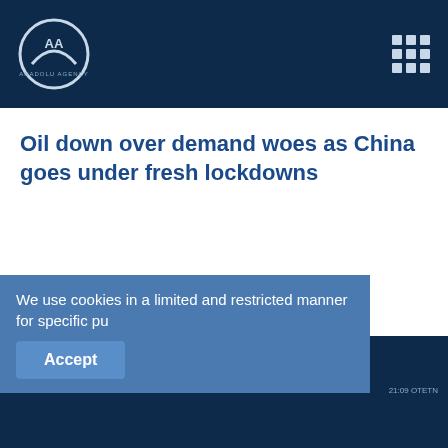Anadolu Agency (AA) logo and navigation
Oil down over demand woes as China goes under fresh lockdowns
Oil down as uncertainties over new variant trigger investor caution
ANADOLU GAS MARKET | ELECTRICITY MARKET REPORT | WAP FM RADIO | 21:09 OTETN
We use cookies in a limited and restricted manner for specific pu
Accept